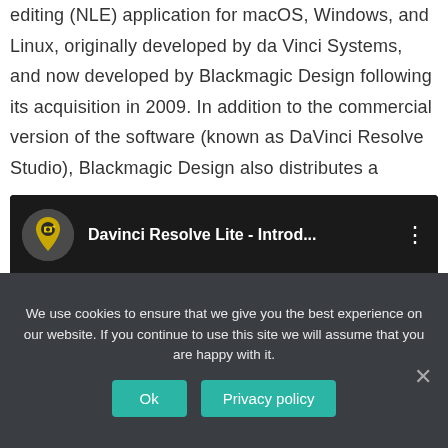editing (NLE) application for macOS, Windows, and Linux, originally developed by da Vinci Systems, and now developed by Blackmagic Design following its acquisition in 2009. In addition to the commercial version of the software (known as DaVinci Resolve Studio), Blackmagic Design also distributes a
[Figure (screenshot): Embedded video thumbnail with dark background showing 'Davinci Resolve Lite - Introd...' title and a yellow location pin icon with a camera symbol]
We use cookies to ensure that we give you the best experience on our website. If you continue to use this site we will assume that you are happy with it.
Ok   Privacy policy